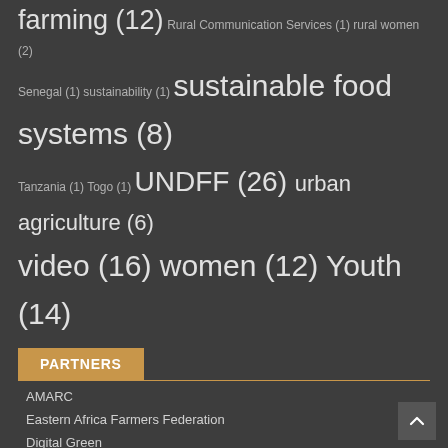farming (12) Rural Communication Services (1) rural women (2)
Senegal (1) sustainability (1) sustainable food systems (8)
Tanzania (1) Togo (1) UNDFF (26) urban agriculture (6)
video (16) women (12) Youth (14)
PARTNERS
AMARC
Eastern Africa Farmers Federation
Digital Green
Farm Radio International
FAO
La Via Campesina
Pan-African Farmers' Organisation
PROPAC
ROPPA